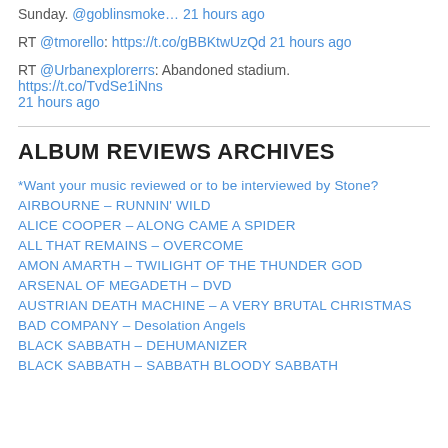Sunday. @goblinsmoke… 21 hours ago
RT @tmorello: https://t.co/gBBKtwUzQd 21 hours ago
RT @Urbanexplorerrs: Abandoned stadium. https://t.co/TvdSe1iNns 21 hours ago
ALBUM REVIEWS ARCHIVES
*Want your music reviewed or to be interviewed by Stone?
AIRBOURNE – RUNNIN' WILD
ALICE COOPER – ALONG CAME A SPIDER
ALL THAT REMAINS – OVERCOME
AMON AMARTH – TWILIGHT OF THE THUNDER GOD
ARSENAL OF MEGADETH – DVD
AUSTRIAN DEATH MACHINE – A VERY BRUTAL CHRISTMAS
BAD COMPANY – Desolation Angels
BLACK SABBATH – DEHUMANIZER
BLACK SABBATH – SABBATH BLOODY SABBATH